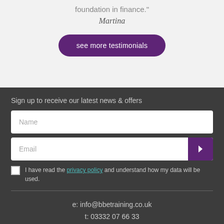foundation in finance."
Martina
see more testimonials
Sign up to receive our latest news & offers
Name
Email
I have read the privacy policy and understand how my data will be used.
e: info@bbetraining.co.uk
t: 03332 07 66 33